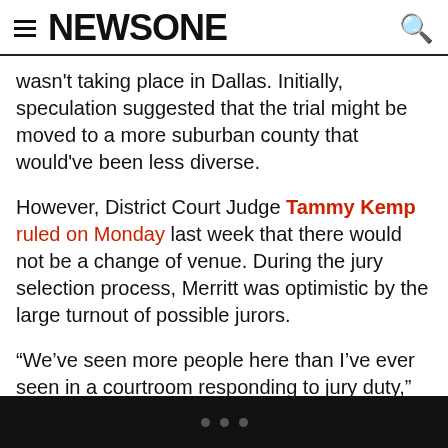NEWSONE
wasn't taking place in Dallas. Initially, speculation suggested that the trial might be moved to a more suburban county that would've been less diverse.
However, District Court Judge Tammy Kemp ruled on Monday last week that there would not be a change of venue. During the jury selection process, Merritt was optimistic by the large turnout of possible jurors.
“We’ve seen more people here than I’ve ever seen in a courtroom responding to jury duty,” Merritt said. “There is just a huge response. There are just lines wrapped around the courtroom and that is a promising sight for the family.”